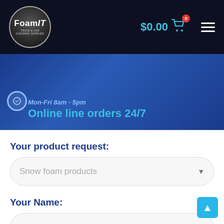[Figure (logo): FoamIT truck and car cleaning supplies circular logo on dark navy header bar with shopping cart showing $0.00 and hamburger menu icon]
$0.00
[Figure (infographic): Blue banner with text partially visible showing 'Online line orders 24/7' in cyan/blue text and a faded italic line above it]
Your product request:
Snow foam products
Your Name: